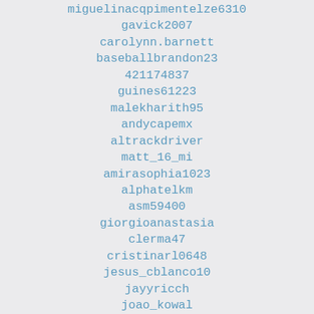miguelinacqpimentelze6310
gavick2007
carolynn.barnett
baseballbrandon23
421174837
guines61223
malekharith95
andycapemx
altrackdriver
matt_16_mi
amirasophia1023
alphatelkm
asm59400
giorgioanastasia
clerma47
cristinarl0648
jesus_cblanco10
jayyricch
joao_kowal
jyoti_makwana
jmhdjkfksd
l0stkid
9920112204
kaouotuwhy